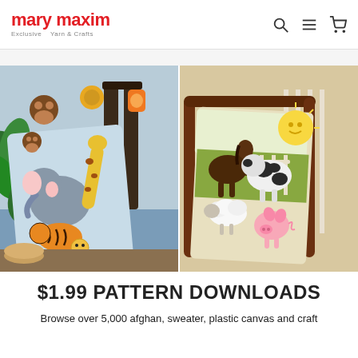mary maxim — Exclusive Yarn & Crafts
[Figure (photo): Two knitted/crocheted afghans: left shows jungle animals (elephant, tiger, giraffe, monkey, lion cub) on a light blue blanket displayed near a baby crib with stuffed animals; right shows farm animals (horse, cow, sheep, pig) on a green and cream blanket draped over a wooden chair.]
$1.99 PATTERN DOWNLOADS
Browse over 5,000 afghan, sweater, plastic canvas and craft